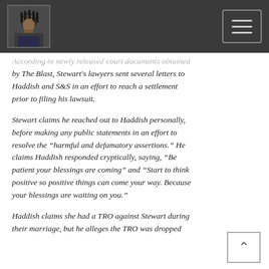Navigation header with profile photo and hamburger menu
According to newly released court documents obtained by The Blast, Stewart's lawyers sent several letters to Haddish and S&S in an effort to reach a settlement prior to filing his lawsuit.
Stewart claims he reached out to Haddish personally, before making any public statements in an effort to resolve the “harmful and defamatory assertions.” He claims Haddish responded cryptically, saying, “Be patient your blessings are coming” and “Start to think positive so positive things can come your way. Because your blessings are waiting on you.”
Haddish claims she had a TRO against Stewart during their marriage, but he alleges the TRO was dropped